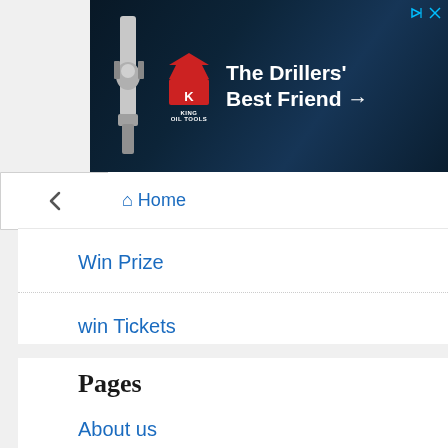[Figure (screenshot): Advertisement banner for King Oil Tools with tagline 'The Drillers' Best Friend →' on dark blue background with drilling equipment imagery]
↑ Home
Win Prize
win Tickets
Win Trip
Pages
About us